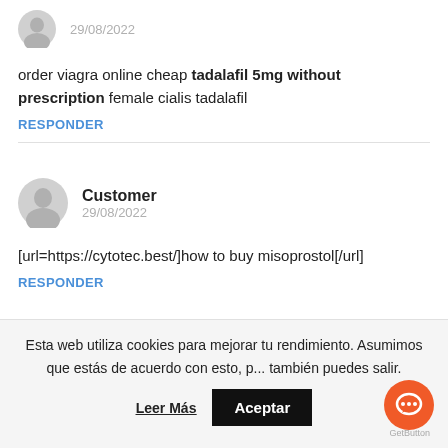[Figure (illustration): User avatar icon (grey silhouette) with date 29/08/2022]
order viagra online cheap tadalafil 5mg without prescription female cialis tadalafil
RESPONDER
[Figure (illustration): User avatar icon (grey silhouette) for Customer, dated 29/08/2022]
Customer
29/08/2022
[url=https://cytotec.best/]how to buy misoprostol[/url]
RESPONDER
Esta web utiliza cookies para mejorar tu rendimiento. Asumimos que estás de acuerdo con esto, pero también puedes salir.
Leer Más
Aceptar